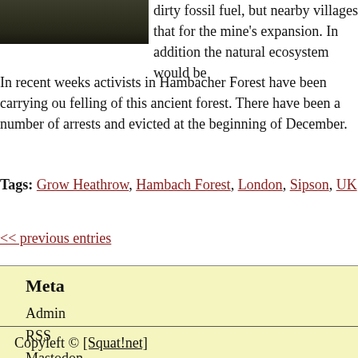[Figure (photo): Dark outdoor photo, partially visible at top left]
dirty fossil fuel, but nearby villages that for the mine's expansion. In addition the natural ecosystem would be
In recent weeks activists in Hambacher Forest have been carrying ou felling of this ancient forest. There have been a number of arrests and evicted at the beginning of December.
Tags: Grow Heathrow, Hambach Forest, London, Sipson, UK
<< previous entries
Meta
Admin
RSS
Mastodon
Copyleft © [Squat!net]